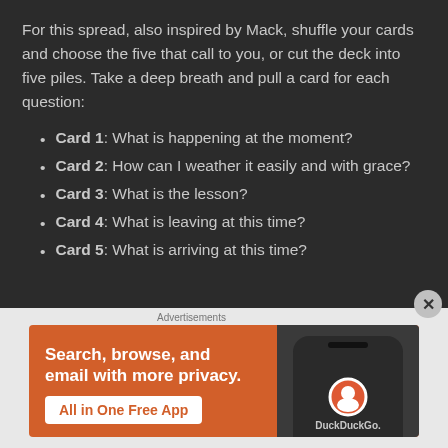For this spread, also inspired by Mack, shuffle your cards and choose the five that call to you, or cut the deck into five piles. Take a deep breath and pull a card for each question:
Card 1: What is happening at the moment?
Card 2: How can I weather it easily and with grace?
Card 3: What is the lesson?
Card 4: What is leaving at this time?
Card 5: What is arriving at this time?
Advertisements
[Figure (infographic): DuckDuckGo advertisement banner with orange background. Text reads 'Search, browse, and email with more privacy. All in One Free App' with phone mockup showing DuckDuckGo logo.]